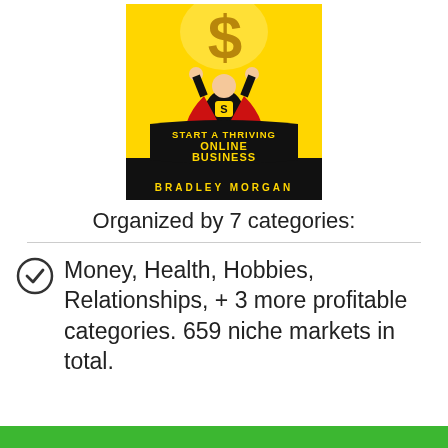[Figure (illustration): Book cover for 'Start a Thriving Online Business' by Bradley Morgan. Yellow background with superhero character holding a large dollar sign, with a black banner reading 'START A THRIVING ONLINE BUSINESS' in yellow text, and author name 'BRADLEY MORGAN' at the bottom on a black bar.]
Organized by 7 categories:
Money, Health, Hobbies, Relationships, + 3 more profitable categories. 659 niche markets in total.